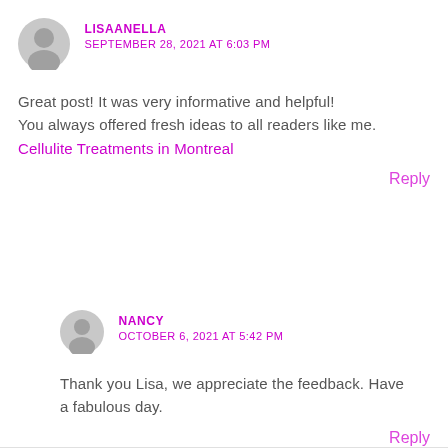LISAANELLA
SEPTEMBER 28, 2021 AT 6:03 PM
Great post! It was very informative and helpful!
You always offered fresh ideas to all readers like me.
Cellulite Treatments in Montreal
Reply
NANCY
OCTOBER 6, 2021 AT 5:42 PM
Thank you Lisa, we appreciate the feedback. Have a fabulous day.
Reply